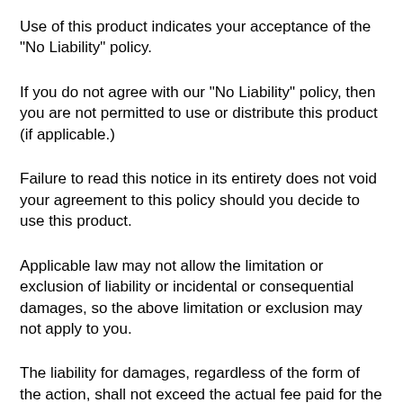Use of this product indicates your acceptance of the "No Liability" policy.
If you do not agree with our "No Liability" policy, then you are not permitted to use or distribute this product (if applicable.)
Failure to read this notice in its entirety does not void your agreement to this policy should you decide to use this product.
Applicable law may not allow the limitation or exclusion of liability or incidental or consequential damages, so the above limitation or exclusion may not apply to you.
The liability for damages, regardless of the form of the action, shall not exceed the actual fee paid for the product.
Note: Articles in this ezine may concern health treatments